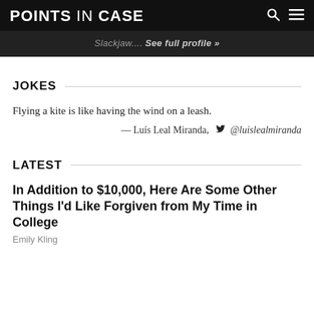POINTS IN CASE
Slackjaw.... See full profile »
JOKES
Flying a kite is like having the wind on a leash.
— Luís Leal Miranda, @luislealmiranda
LATEST
In Addition to $10,000, Here Are Some Other Things I'd Like Forgiven from My Time in College
Emily Kling